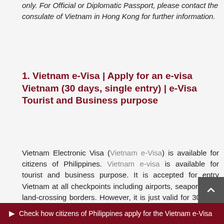only. For Official or Diplomatic Passport, please contact the consulate of Vietnam in Hong Kong for further information.
1. Vietnam e-Visa | Apply for an e-visa Vietnam (30 days, single entry) | e-Visa Tourist and Business purpose
Vietnam Electronic Visa (Vietnam e-Visa) is available for citizens of Philippines. Vietnam e-visa is available for tourist and business purpose. It is accepted for entry Vietnam at all checkpoints including airports, seaports and land-crossing borders. However, it is just valid for 30 days with single entry only. Those are requiring for multiple entries or staying longer than 30 days may apply for Vietnam visa on arrival or apply the visa directly consulate of Vietnam in Hong Kong instead.
Check how citizens of Philippines apply for the Vietnam e-Visa